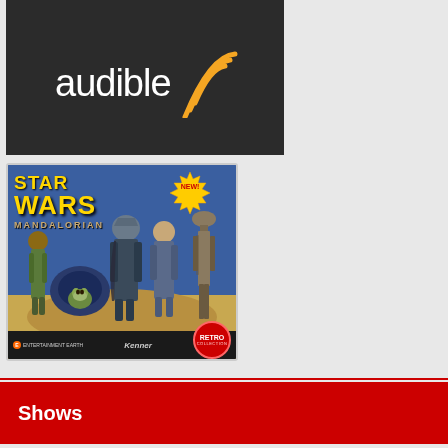[Figure (logo): Audible logo on dark background — white text 'audible' with orange WiFi-style signal icon]
[Figure (illustration): Star Wars The Mandalorian Kenner Retro Collection toy advertisement showing action figures (Kuiil, The Child/Baby Yoda, The Mandalorian, Cara Dune, IG-11) on blue/sandy background. Logos: Entertainment Earth, Kenner, Retro Collection badge. 'NEW!' starburst badge in top right.]
Shows